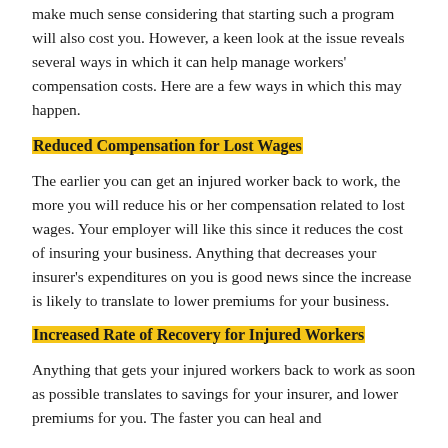make much sense considering that starting such a program will also cost you. However, a keen look at the issue reveals several ways in which it can help manage workers' compensation costs. Here are a few ways in which this may happen.
Reduced Compensation for Lost Wages
The earlier you can get an injured worker back to work, the more you will reduce his or her compensation related to lost wages. Your employer will like this since it reduces the cost of insuring your business. Anything that decreases your insurer's expenditures on you is good news since the increase is likely to translate to lower premiums for your business.
Increased Rate of Recovery for Injured Workers
Anything that gets your injured workers back to work as soon as possible translates to savings for your insurer, and lower premiums for you. The faster you can heal and